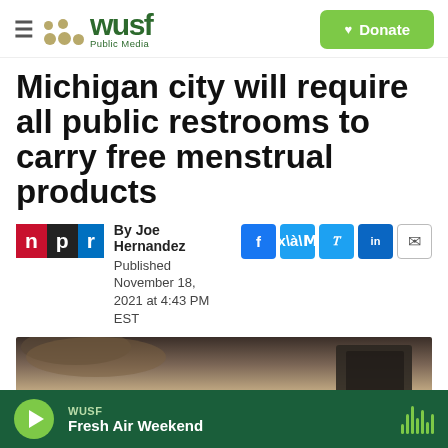WUSF Public Media — Donate
Michigan city will require all public restrooms to carry free menstrual products
By Joe Hernandez
Published November 18, 2021 at 4:43 PM EST
[Figure (photo): Partial photo visible at bottom of article showing a person near a bathroom fixture]
WUSF Fresh Air Weekend (audio player bar)